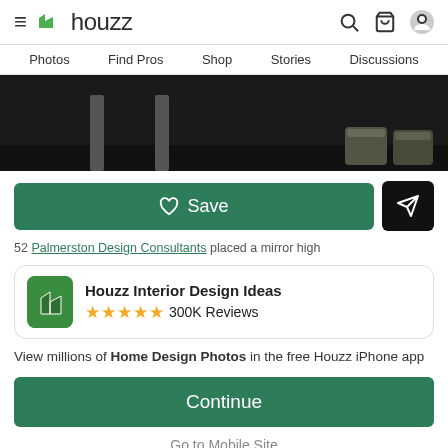houzz — Photos | Find Pros | Shop | Stories | Discussions
[Figure (photo): Dark wood floor room with metal bench legs and leather dress shoes visible at bottom]
♡ Save
52 Palmerston Design Consultants placed a mirror high
Houzz Interior Design Ideas
★★★★★ 300K Reviews
View millions of Home Design Photos in the free Houzz iPhone app
Continue
Go to Mobile Site